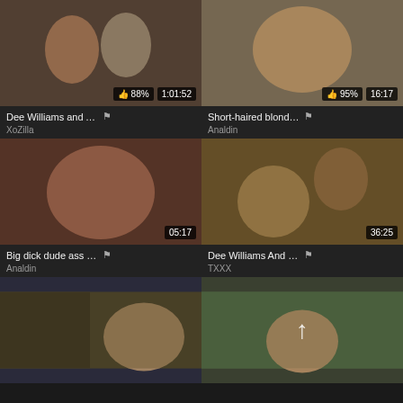[Figure (photo): Video thumbnail - two women, one tattooed with dark hair, one blonde, holding drinks. Rating badge 88%, duration 1:01:52]
Dee Williams and Anna De V...
XoZilla
[Figure (photo): Video thumbnail - blonde mature woman on bed. Rating badge 95%, duration 16:17]
Short-haired blond hair matu...
Analdin
[Figure (photo): Video thumbnail - large-breasted woman, duration 05:17]
Big dick dude ass fuck fucks ...
Analdin
[Figure (photo): Video thumbnail - couple on bed, duration 36:25]
Dee Williams And Zac Wild - ...
TXXX
[Figure (photo): Video thumbnail - classroom scene with two women]
[Figure (photo): Video thumbnail - woman in red jacket outdoors with up arrow icon]